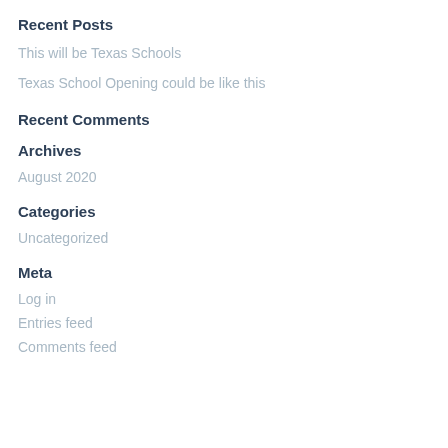Recent Posts
This will be Texas Schools
Texas School Opening could be like this
Recent Comments
Archives
August 2020
Categories
Uncategorized
Meta
Log in
Entries feed
Comments feed